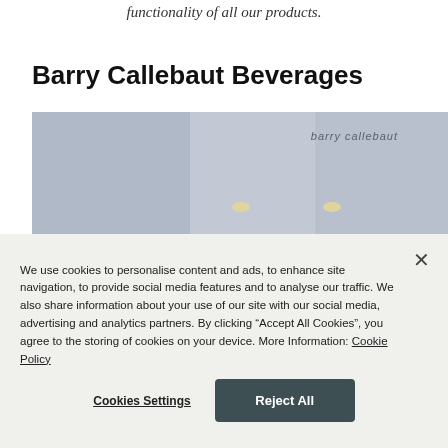functionality of all our products.
Barry Callebaut Beverages
[Figure (photo): Blurred interior photo of a Barry Callebaut Beverages facility showing panel walls and ceiling lights]
We use cookies to personalise content and ads, to enhance site navigation, to provide social media features and to analyse our traffic. We also share information about your use of our site with our social media, advertising and analytics partners. By clicking “Accept All Cookies”, you agree to the storing of cookies on your device. More Information: Cookie Policy
Cookies Settings
Reject All